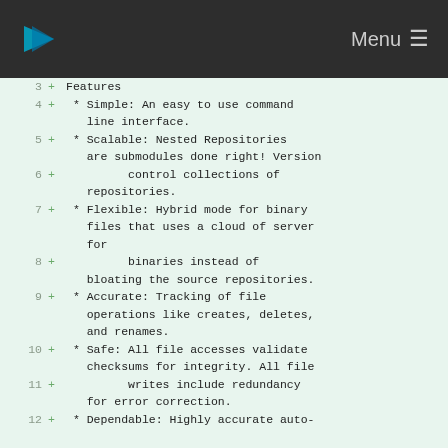Menu
3  + Features
4  +  * Simple: An easy to use command line interface.
5  +  * Scalable: Nested Repositories are submodules done right! Version
6  +          control collections of repositories.
7  +  * Flexible: Hybrid mode for binary files that uses a cloud of server for
8  +          binaries instead of bloating the source repositories.
9  +  * Accurate: Tracking of file operations like creates, deletes, and renames.
10 +  * Safe: All file accesses validate checksums for integrity. All file
11 +          writes include redundancy for error correction.
12 +  * Dependable: Highly accurate auto-